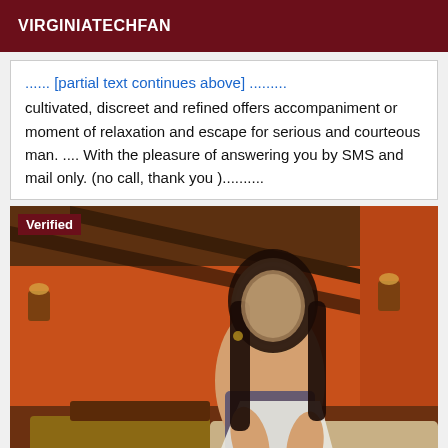VIRGINIATECHFAN
cultivated, discreet and refined offers accompaniment or moment of relaxation and escape for serious and courteous man. .... With the pleasure of answering you by SMS and mail only. (no call, thank you )..........
[Figure (photo): Woman with blurred face sitting on a bed in a room with orange walls and dark wooden beam ceiling. A 'Verified' badge appears in the top-left corner of the image.]